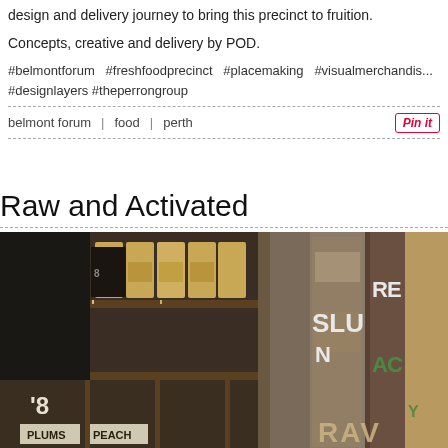design and delivery journey to bring this precinct to fruition.
Concepts, creative and delivery by POD.
#belmontforum #freshfoodprecinct #placemaking #visualmerchandis... #designlayers #theperrongroup
belmont forum | food | perth   Pin it
Raw and Activated
[Figure (photo): Interior retail space with wooden shelving holding packaged coffee bags on the left, price signs reading '$8 PLUMS' and 'PEACH', and rustic wooden sign panels on the right showing partial text including 'RED', 'SUN', and other text in a raw, industrial style.]